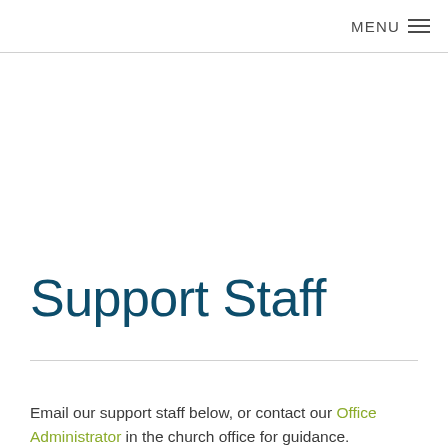MENU ≡
Support Staff
Email our support staff below, or contact our Office Administrator in the church office for guidance.